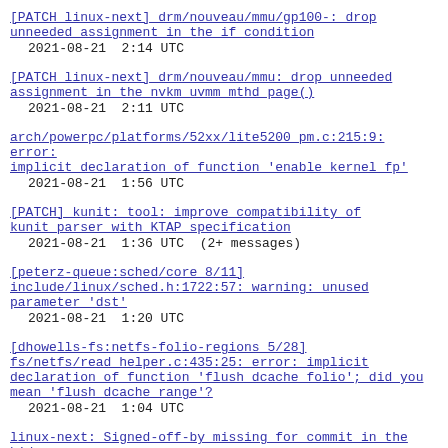[PATCH linux-next] drm/nouveau/mmu/gp100-: drop unneeded assignment in the if condition
2021-08-21  2:14 UTC
[PATCH linux-next] drm/nouveau/mmu: drop unneeded assignment in the nvkm uvmm mthd page()
2021-08-21  2:11 UTC
arch/powerpc/platforms/52xx/lite5200_pm.c:215:9: error: implicit declaration of function 'enable kernel fp'
2021-08-21  1:56 UTC
[PATCH] kunit: tool: improve compatibility of kunit parser with KTAP specification
2021-08-21  1:36 UTC  (2+ messages)
[peterz-queue:sched/core 8/11] include/linux/sched.h:1722:57: warning: unused parameter 'dst'
2021-08-21  1:20 UTC
[dhowells-fs:netfs-folio-regions 5/28] fs/netfs/read helper.c:435:25: error: implicit declaration of function 'flush dcache folio'; did you mean 'flush dcache range'?
2021-08-21  1:04 UTC
linux-next: Signed-off-by missing for commit in the hid tree
2021-08-21  0:46 UTC